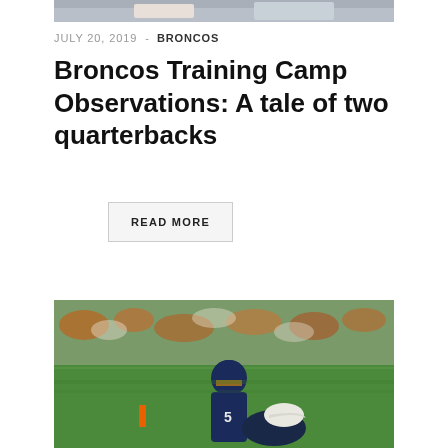[Figure (photo): Cropped top portion of a sports/football photo, showing partial image at top of page]
JULY 20, 2019  -  BRONCOS
Broncos Training Camp Observations: A tale of two quarterbacks
READ MORE
[Figure (photo): Football training camp photo showing Broncos players in navy blue uniforms on a green field with crowd in orange and white in the background]